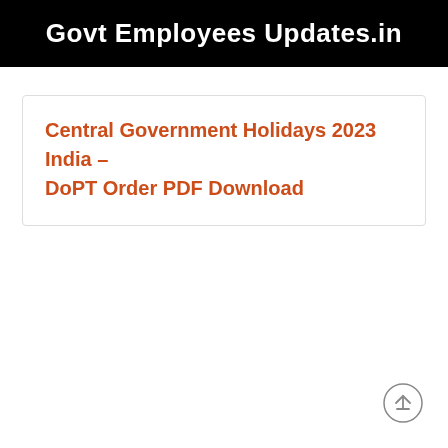Govt Employees Updates.in
Central Government Holidays 2023 India – DoPT Order PDF Download
[Figure (other): Scroll-to-top circle arrow button icon in bottom right corner]